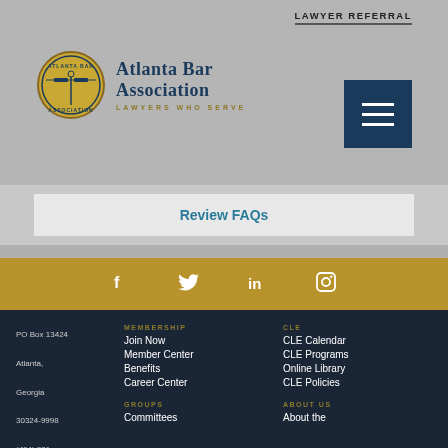LAWYER REFERRAL
[Figure (logo): Atlanta Bar Association logo with scales of justice emblem and text 'ATLANTA BAR ASSOCIATION - LAWYERS WHO SERVE']
Review FAQs
[Figure (infographic): Social media icons bar: Facebook, Twitter, LinkedIn, Instagram on gold background]
[Figure (logo): Atlanta Bar Association circular seal logo in footer]
PO Box 13424
Atlanta,
Georgia
30324-9998
(404) 521 - 0781
MEMBERSHIP
Join Now
Member Center
Benefits
Career Center
GROUPS
Committees
CLE
CLE Calendar
CLE Programs
Online Library
CLE Policies
ABOUT US
About the